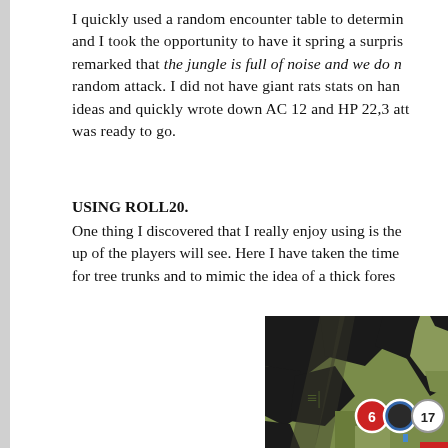I quickly used a random encounter table to determ... and I took the opportunity to have it spring a surpris... remarked that the jungle is full of noise and we do n... random attack. I did not have giant rats stats on han... ideas and quickly wrote down AC 12 and HP 22,3 att... was ready to go.
USING ROLL20.
One thing I discovered that I really enjoy using is the... up of the players will see. Here I have taken the time... for tree trunks and to mimic the idea of a thick fores...
[Figure (map): A Roll20 tactical map showing a jungle/forest scene with green and black terrain, featuring numbered token circles: a red-bordered circle with '6', a blue-bordered dark circle, and a white-bordered circle with '17'. The map uses dark black shapes to represent tree trunks against an olive-green forest background.]